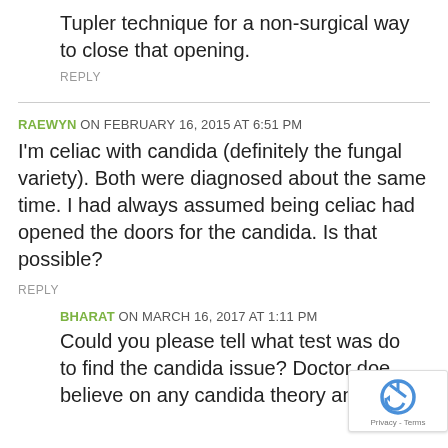Tupler technique for a non-surgical way to close that opening.
REPLY
RAEWYN ON FEBRUARY 16, 2015 AT 6:51 PM
I'm celiac with candida (definitely the fungal variety). Both were diagnosed about the same time. I had always assumed being celiac had opened the doors for the candida. Is that possible?
REPLY
BHARAT ON MARCH 16, 2017 AT 1:11 PM
Could you please tell what test was done to find the candida issue? Doctor does not believe on any candida theory and my